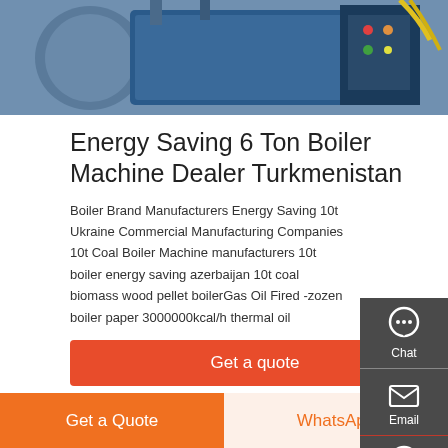[Figure (photo): Industrial boiler machinery photo showing blue boiler equipment with control panel]
Energy Saving 6 Ton Boiler Machine Dealer Turkmenistan
Boiler Brand Manufacturers Energy Saving 10t Ukraine Commercial Manufacturing Companies 10t Coal Boiler Machine manufacturers 10t boiler energy saving azerbaijan 10t coal biomass wood pellet boilerGas Oil Fired -zozen boiler paper 3000000kcal/h thermal oil
[Figure (other): Get a quote button - red/orange button]
[Figure (photo): Industrial pipes and equipment photo showing yellow pipes]
[Figure (other): Side panel with Chat, Email, Contact icons]
[Figure (other): Footer buttons: Get a Quote (orange) and WhatsApp (light orange/cream)]